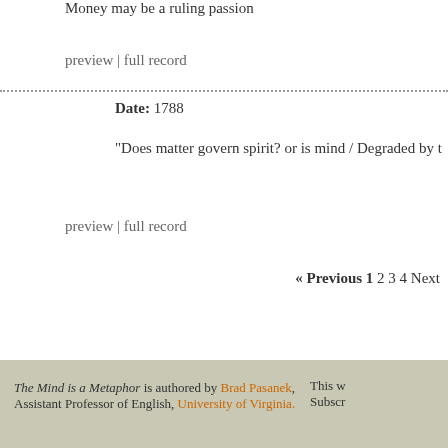Money may be a ruling passion
preview | full record
Date: 1788
"Does matter govern spirit? or is mind / Degraded by t
preview | full record
« Previous 1 2 3 4 Next
The Mind is a Metaphor is authored by Brad Pasanek, Assistant Professor of English, University of Virginia. This w Subscr